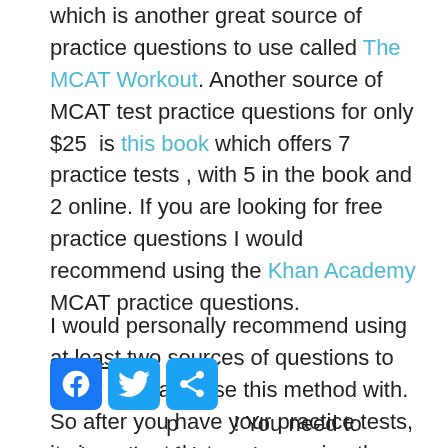which is another great source of practice questions to use called The MCAT Workout. Another source of MCAT test practice questions for only $25 is this book which offers 7 practice tests , with 5 in the book and 2 online. If you are looking for free practice questions I would recommend using the Khan Academy MCAT practice questions.
I would personally recommend using at least two sources of questions to study from and use this method with. So after you have your practice tests, its important that you are using them properly! You need to make a list of the topics that you are missing understanding with. Make